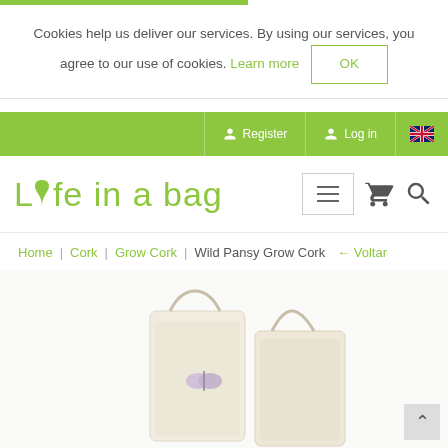Cookies help us deliver our services. By using our services, you agree to our use of cookies. Learn more OK
Register | Log in | EN
[Figure (logo): Lyfe in a bag logo with green leaf motif, green text]
Home | Cork | Grow Cork | Wild Pansy Grow Cork ← Voltar
[Figure (photo): Product image of Wild Pansy Grow Cork kit on cream/off-white background, partially visible at bottom of page]